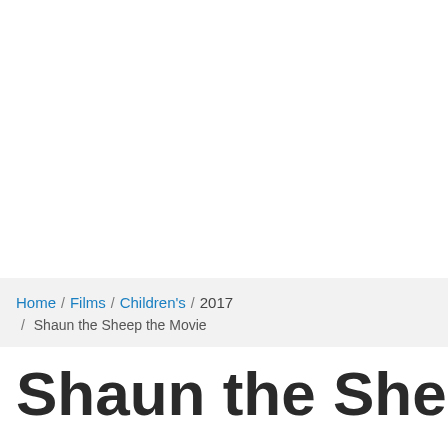Home / Films / Children's / 2017 / Shaun the Sheep the Movie
Shaun the Sheep the